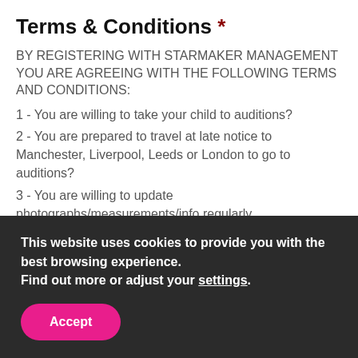Terms & Conditions *
BY REGISTERING WITH STARMAKER MANAGEMENT YOU ARE AGREEING WITH THE FOLLOWING TERMS AND CONDITIONS:
1 - You are willing to take your child to auditions?
2 - You are prepared to travel at late notice to Manchester, Liverpool, Leeds or London to go to auditions?
3 - You are willing to update photographs/measurements/info regularly
4 - You are willing to accept you will be entering into a sole management agreement?
5 - You are willing to attend the monthly Acting for the camera Masterclass?
6 - You are easy to get in contact with?
7 - You have a mobile phone & email address?
8 - You are willing to become a member of Spotlight & Casting
This website uses cookies to provide you with the best browsing experience. Find out more or adjust your settings.
Accept